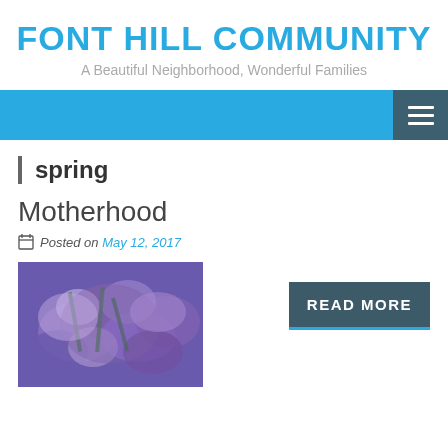FONT HILL COMMUNITY
A Beautiful Neighborhood, Wonderful Families
[Figure (screenshot): Blue navigation bar with hamburger menu icon on the right]
spring
Motherhood
Posted on May 12, 2017
[Figure (photo): Purple iris flowers close-up photograph]
READ MORE